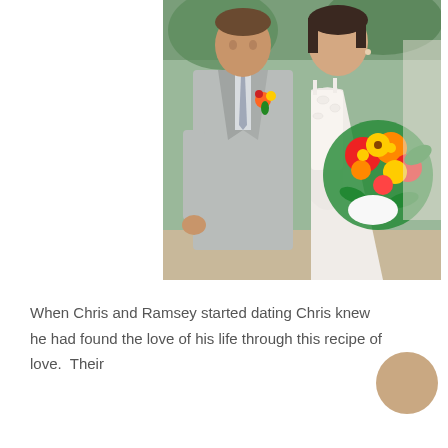[Figure (photo): Wedding photo of Chris and Ramsey. The groom wears a light grey suit with a colorful boutonniere (orange, yellow, red flowers). The bride wears a white lace wedding gown and holds a large tropical bouquet with red, orange, yellow, and green flowers. They are standing outdoors with greenery in the background.]
When Chris and Ramsey started dating Chris knew he had found the love of his life through this recipe of love.  Their